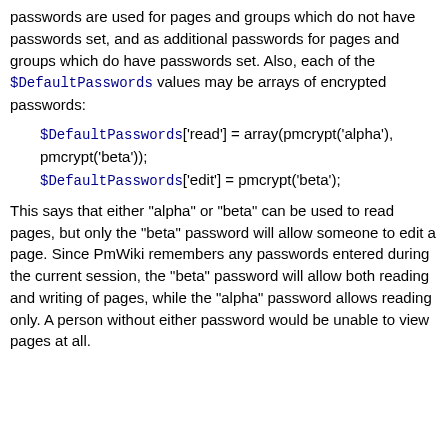passwords are used for pages and groups which do not have passwords set, and as additional passwords for pages and groups which do have passwords set. Also, each of the $DefaultPasswords values may be arrays of encrypted passwords:
$DefaultPasswords['read'] = array(pmcrypt('alpha'), pmcrypt('beta')); $DefaultPasswords['edit'] = pmcrypt('beta');
This says that either "alpha" or "beta" can be used to read pages, but only the "beta" password will allow someone to edit a page. Since PmWiki remembers any passwords entered during the current session, the "beta" password will allow both reading and writing of pages, while the "alpha" password allows reading only. A person without either password would be unable to view pages at all.